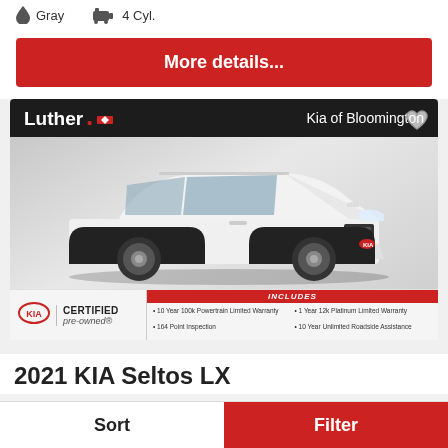Gray   4 Cyl.
More details...
[Figure (photo): White 2021 Kia Seltos LX SUV photographed from front-left angle on a gray background. Dealer banner at top reads 'Luther. Kia of Bloomington'. Bottom bar shows KIA Certified Pre-Owned badge with INCLUDES section listing warranty details.]
2021 KIA Seltos LX
Sort
Filter